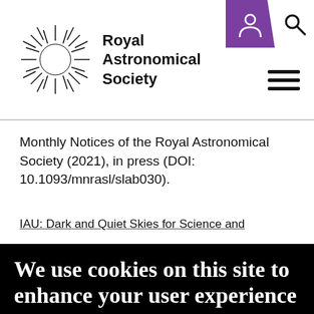Royal Astronomical Society
Monthly Notices of the Royal Astronomical Society (2021), in press (DOI: 10.1093/mnrasl/slab030).
IAU: Dark and Quiet Skies for Science and
We use cookies on this site to enhance your user experience
By clicking any link on this page you are giving your consent for us to set cookies.
OK, I agree
Give me more info